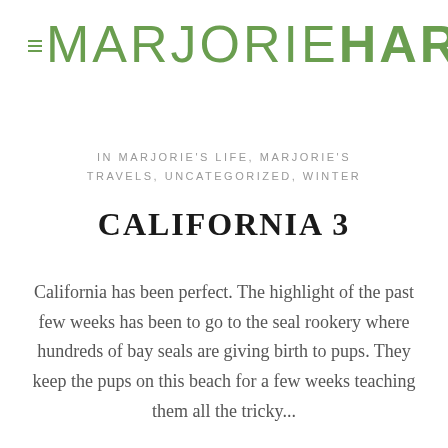MARJORIEHARRIS
IN MARJORIE'S LIFE, MARJORIE'S TRAVELS, UNCATEGORIZED, WINTER
CALIFORNIA 3
California has been perfect. The highlight of the past few weeks has been to go to the seal rookery where hundreds of bay seals are giving birth to pups. They keep the pups on this beach for a few weeks teaching them all the tricky...